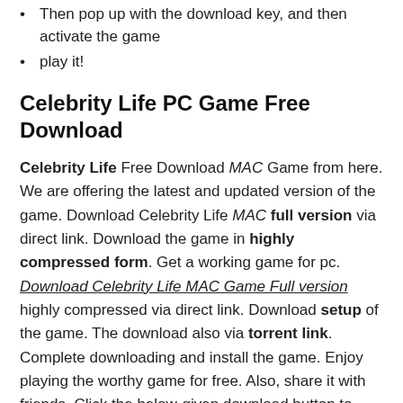Then pop up with the download key, and then activate the game
play it!
Celebrity Life PC Game Free Download
Celebrity Life Free Download MAC Game from here. We are offering the latest and updated version of the game. Download Celebrity Life MAC full version via direct link. Download the game in highly compressed form. Get a working game for pc. Download Celebrity Life MAC Game Full version highly compressed via direct link. Download setup of the game. The download also via torrent link. Complete downloading and install the game. Enjoy playing the worthy game for free. Also, share it with friends. Click the below-given download button to start the download.